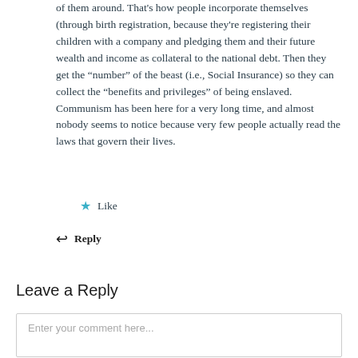of them around. That's how people incorporate themselves (through birth registration, because they're registering their children with a company and pledging them and their future wealth and income as collateral to the national debt. Then they get the “number” of the beast (i.e., Social Insurance) so they can collect the “benefits and privileges” of being enslaved. Communism has been here for a very long time, and almost nobody seems to notice because very few people actually read the laws that govern their lives.
Like
Reply
Leave a Reply
Enter your comment here...